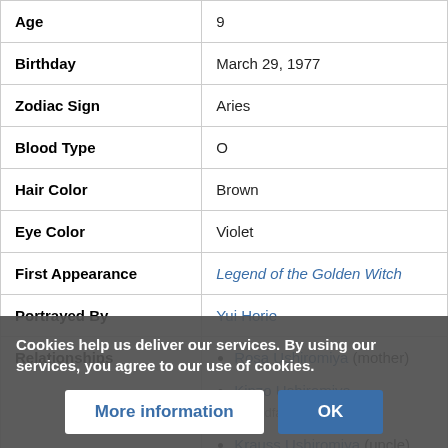| Field | Value |
| --- | --- |
| Age | 9 |
| Birthday | March 29, 1977 |
| Zodiac Sign | Aries |
| Blood Type | O |
| Hair Color | Brown |
| Eye Color | Violet |
| First Appearance | Legend of the Golden Witch |
| Portrayed By | Yui Horie |
| Relationships | Rosa Ushiromiya (mother)
Kinzo Ushiromiya (grandfather)
Krauss Ushiromiya (uncle)
...omiya (aunt) |
Cookies help us deliver our services. By using our services, you agree to our use of cookies.